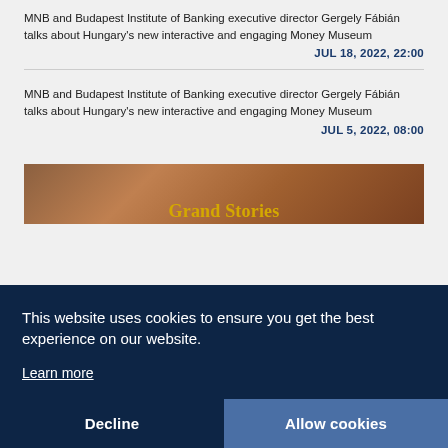MNB and Budapest Institute of Banking executive director Gergely Fábián talks about Hungary's new interactive and engaging Money Museum
JUL 18, 2022, 22:00
MNB and Budapest Institute of Banking executive director Gergely Fábián talks about Hungary's new interactive and engaging Money Museum
JUL 5, 2022, 08:00
[Figure (photo): Partially visible image showing what appears to be an interior scene with warm brown tones, partially obscured by cookie consent banner]
This website uses cookies to ensure you get the best experience on our website.
Learn more
Decline
Allow cookies